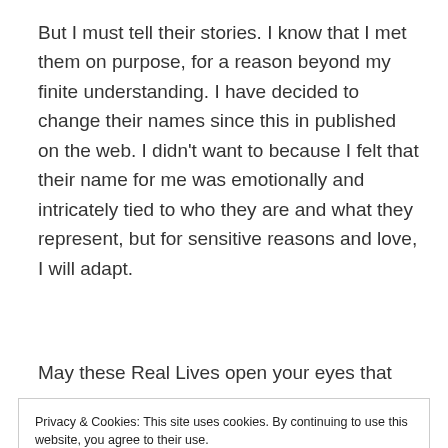But I must tell their stories. I know that I met them on purpose, for a reason beyond my finite understanding. I have decided to change their names since this in published on the web. I didn't want to because I felt that their name for me was emotionally and intricately tied to who they are and what they represent, but for sensitive reasons and love, I will adapt.
May these Real Lives open your eyes that
Privacy & Cookies: This site uses cookies. By continuing to use this website, you agree to their use.
To find out more, including how to control cookies, see here: Cookie Policy
Close and accept